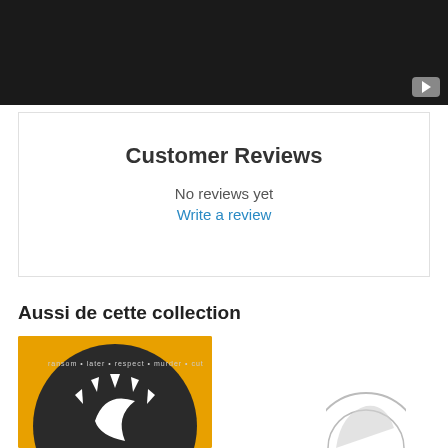[Figure (screenshot): Dark/black video player area with a play button icon in the bottom right corner]
Customer Reviews
No reviews yet
Write a review
Aussi de cette collection
[Figure (photo): Circular dark disc/vinyl record with white sun logo and text reading ransom, later, respect, murder, cut on a yellow/orange background]
[Figure (photo): Partial circular logo/icon, light grey on white background]